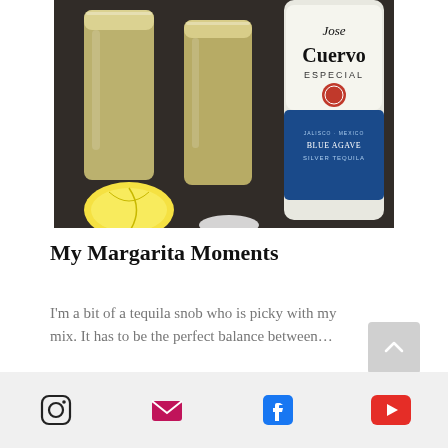[Figure (photo): Photo of two tall glasses filled with yellow margarita drink and a Jose Cuervo Especial Blue Agave Silver Tequila bottle on a dark counter, with a lemon half in the foreground.]
My Margarita Moments
I'm a bit of a tequila snob who is picky with my mix. It has to be the perfect balance between…
[Figure (other): Social media icons row: Instagram, Email/envelope, Facebook, YouTube]